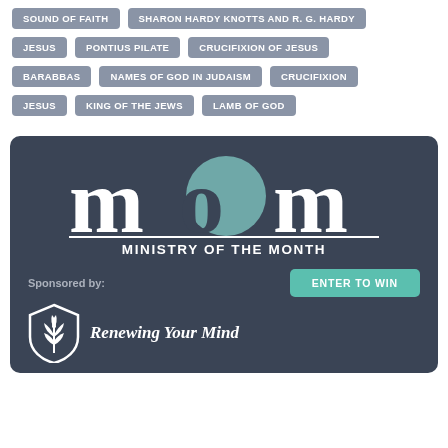SOUND OF FAITH
SHARON HARDY KNOTTS AND R. G. HARDY
JESUS
PONTIUS PILATE
CRUCIFIXION OF JESUS
BARABBAS
NAMES OF GOD IN JUDAISM
CRUCIFIXION
JESUS
KING OF THE JEWS
LAMB OF GOD
[Figure (logo): Ministry of the Month logo with large serif 'mom' letters where the 'o' is a teal circle, subtitle 'MINISTRY OF THE MONTH', sponsored by Renewing Your Mind with a shield plant logo and teal 'ENTER TO WIN' button]